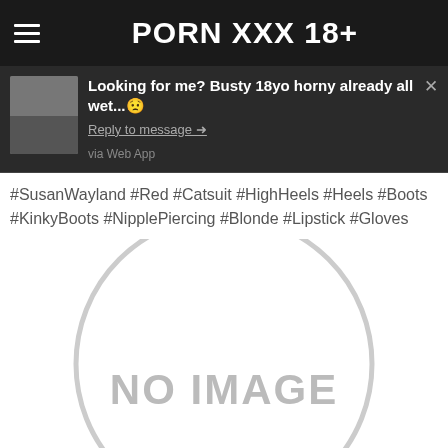PORN XXX 18+
Looking for me? Busty 18yo horny already all wet... Reply to message → via Web App
#SusanWayland #Red #Catsuit #HighHeels #Heels #Boots #KinkyBoots #NipplePiercing #Blonde #Lipstick #Gloves
[Figure (other): Placeholder circle with NO IMAGE text]